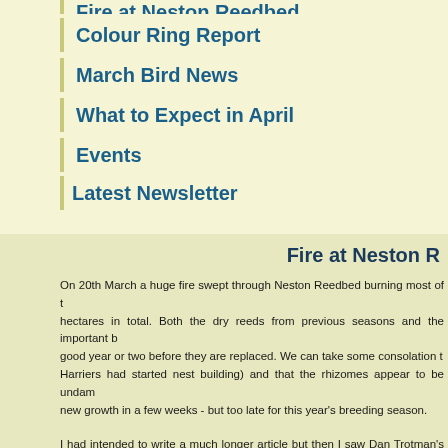Fire at Neston Reedbed
Colour Ring Report
March Bird News
What to Expect in April
Events
Latest Newsletter
Fire at Neston R
On 20th March a huge fire swept through Neston Reedbed burning most of t… hectares in total. Both the dry reeds from previous seasons and the important b… good year or two before they are replaced. We can take some consolation t… Harriers had started nest building) and that the rhizomes appear to be undam… new growth in a few weeks - but too late for this year's breeding season.
I had intended to write a much longer article but then I saw Dan Trotman's art… was no point in me trying to match such a detailed, heartfelt and just amazing…